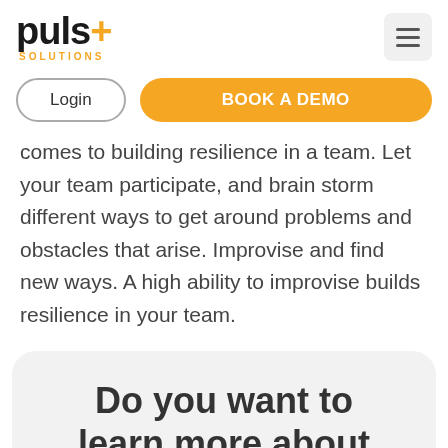[Figure (logo): Puls+ Solutions logo with black bold text 'puls', orange plus sign, and orange 'SOLUTIONS' text below]
[Figure (other): Hamburger menu icon in a light gray rounded square]
Login
BOOK A DEMO
comes to building resilience in a team. Let your team participate, and brain storm different ways to get around problems and obstacles that arise. Improvise and find new ways. A high ability to improvise builds resilience in your team.
Do you want to learn more about